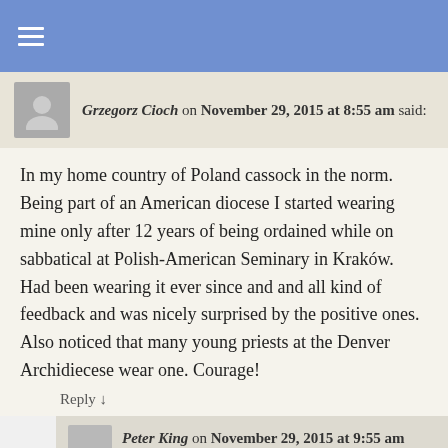Grzegorz Cioch on November 29, 2015 at 8:55 am said:
In my home country of Poland cassock in the norm. Being part of an American diocese I started wearing mine only after 12 years of being ordained while on sabbatical at Polish-American Seminary in Kraków. Had been wearing it ever since and and all kind of feedback and was nicely surprised by the positive ones. Also noticed that many young priests at the Denver Archidiecese wear one. Courage!
Reply ↓
Peter King on November 29, 2015 at 9:55 am said:
Two of our local Priests wear them all the time. Fr Calvillo and Fr Donovan look great! I was raised amongst the Fransicans so I like the traditional look!
Reply ↓
acardnal on November 29, 2015 at 9:01 am said: